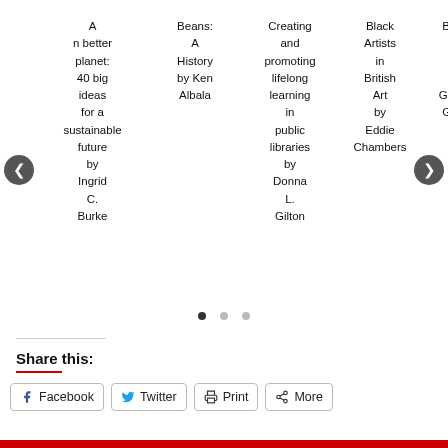[Figure (other): A carousel of book titles with left and right navigation arrows: 'A better planet: 40 big ideas for a sustainable future by Ingrid C. Burke', 'Beans: A History by Ken Albala', 'Creating and promoting lifelong learning in public libraries by Donna L. Gilton', 'Black Artists in British Art by Eddie Chambers', 'Britain's black past by Gretchen Gerzina']
Share this:
Facebook
Twitter
Print
More